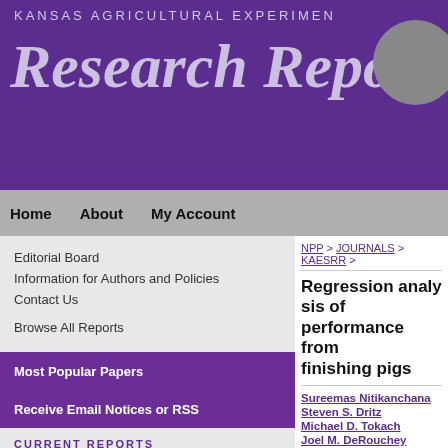KANSAS AGRICULTURAL EXPERIMENT
Research Reports
Home
About
My Account
Editorial Board
Information for Authors and Policies
Contact Us
Browse All Reports
Most Popular Papers
Receive Email Notices or RSS
CURRENT REPORTS
NPP > JOURNALS > KAESRR >
Regression analysis of performance from finishing pigs
Sureemas Nitikanchana
Steven S. Dritz
Michael D. Tokach
Joel M. DeRouchey